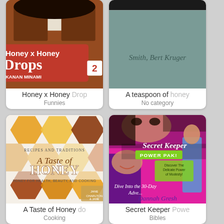[Figure (screenshot): Book cover grid showing four books: Honey x Honey Drops vol 2, A teaspoon of honey, A Taste of Honey, Secret Keeper Power Pak]
Honey x Honey Drop...
Funnies
A teaspoon of honey...
No category
A Taste of Honey do...
Cooking
Secret Keeper Powe...
Bibles